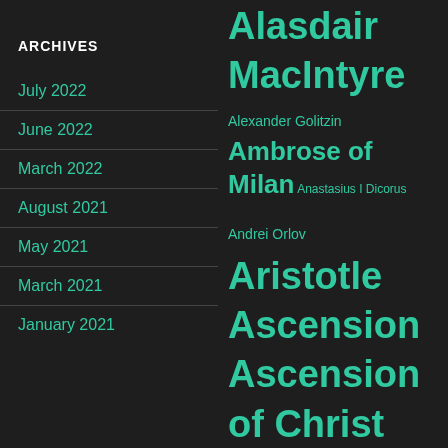ARCHIVES
July 2022
June 2022
March 2022
August 2021
May 2021
March 2021
January 2021
Alasdair MacIntyre Alexander Golitzin Ambrose of Milan Anastasius I Dicorus Andrei Orlov Aristotle Ascension Ascension of Christ Astrology Augustine of Hippo Aurelius Prudentius Clemens